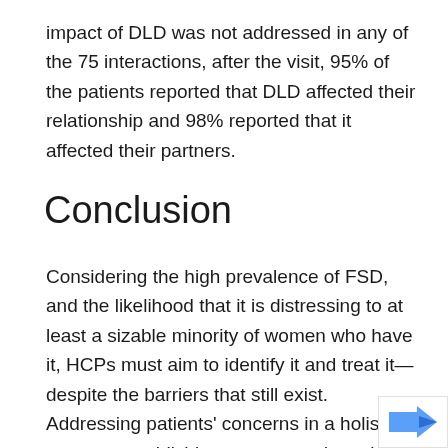impact of DLD was not addressed in any of the 75 interactions, after the visit, 95% of the patients reported that DLD affected their relationship and 98% reported that it affected their partners.
Conclusion
Considering the high prevalence of FSD, and the likelihood that it is distressing to at least a sizable minority of women who have it, HCPs must aim to identify it and treat it—despite the barriers that still exist. Addressing patients' concerns in a holistic manner, establishing rapport, and providing a nonjudgmental environment for discussion about sensitive topics i